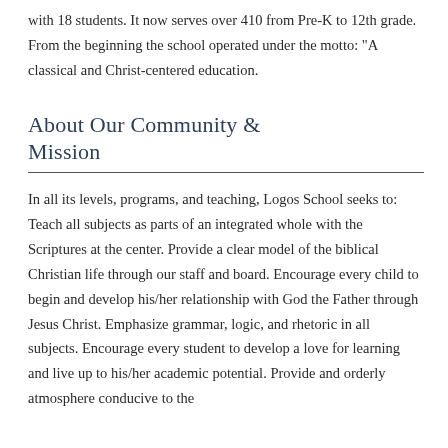with 18 students. It now serves over 410 from Pre-K to 12th grade. From the beginning the school operated under the motto: "A classical and Christ-centered education.
About Our Community & Mission
In all its levels, programs, and teaching, Logos School seeks to: Teach all subjects as parts of an integrated whole with the Scriptures at the center. Provide a clear model of the biblical Christian life through our staff and board. Encourage every child to begin and develop his/her relationship with God the Father through Jesus Christ. Emphasize grammar, logic, and rhetoric in all subjects. Encourage every student to develop a love for learning and live up to his/her academic potential. Provide and orderly atmosphere conducive to the